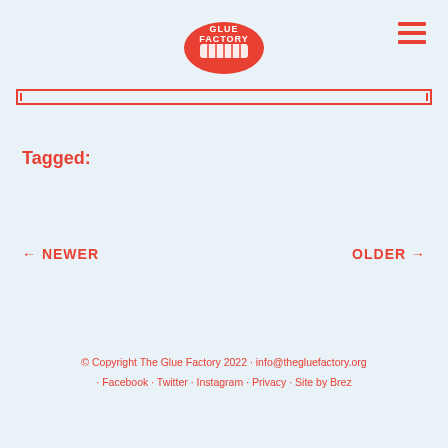Glue Factory logo and hamburger menu
[Figure (logo): Glue Factory red lip/mouth logo with text GLUE FACTORY inside]
Tagged:
← NEWER
OLDER →
© Copyright The Glue Factory 2022 · info@thegluefactory.org · Facebook · Twitter · Instagram · Privacy · Site by Brez